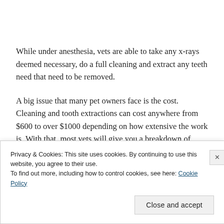While under anesthesia, vets are able to take any x-rays deemed necessary, do a full cleaning and extract any teeth need that need to be removed.
A big issue that many pet owners face is the cost. Cleaning and tooth extractions can cost anywhere from $600 to over $1000 depending on how extensive the work is. With that, most vets will give you a breakdown of costs prior to
Privacy & Cookies: This site uses cookies. By continuing to use this website, you agree to their use.
To find out more, including how to control cookies, see here: Cookie Policy
Close and accept